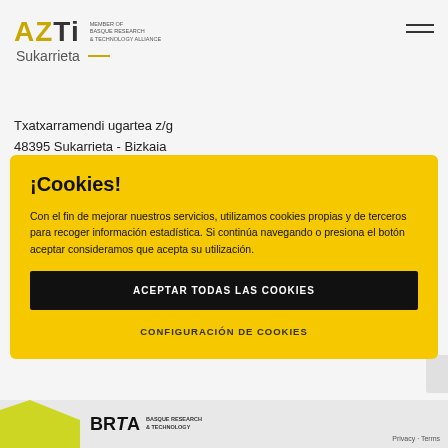[Figure (logo): AZTI Sukarrieta logo with 'MEMBER OF BASQUE RESEARCH & TECHNOLOGY ALLIANCE' text]
Txatxarramendi ugartea z/g
48395 Sukarrieta - Bizkaia
¡Cookies!
Con el fin de mejorar nuestros servicios, utilizamos cookies propias y de terceros para recoger información estadística. Si continúa navegando o presiona el botón aceptar consideramos que acepta su utilización.
ACEPTAR TODAS LAS COOKIES
CONFIGURACIÓN DE COOKIES
[Figure (logo): BRTA Basque Research & Technology logo at bottom]
Privacy · Terms